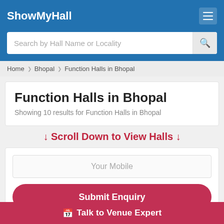ShowMyHall
Search by Hall Name or Locality
Home › Bhopal › Function Halls in Bhopal
Function Halls in Bhopal
Showing 10 results for Function Halls in Bhopal
↓ Scroll Down to View Halls ↓
Your Mobile
Submit Enquiry
Select Option
Filter
Talk to Venue Expert